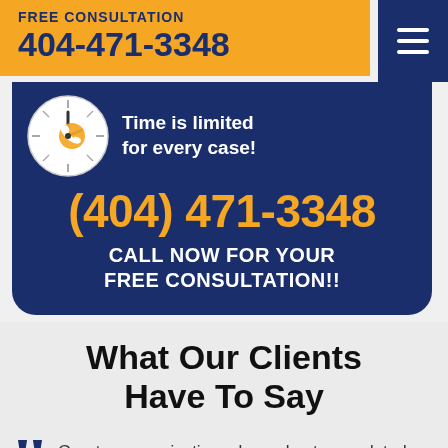FREE CONSULTATION 404-471-3348
[Figure (infographic): Blue rounded card with clock icon, phone number (404) 471-3348, and call to action text on dark blue background]
Time is limited for every case!
(404) 471-3348
CALL NOW FOR YOUR FREE CONSULTATION!!
What Our Clients Have To Say
Great communication, always kept us updated